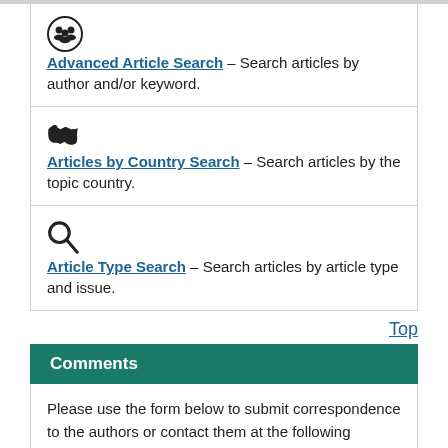Advanced Article Search – Search articles by author and/or keyword.
Articles by Country Search – Search articles by the topic country.
Article Type Search – Search articles by article type and issue.
Top
Comments
Please use the form below to submit correspondence to the authors or contact them at the following address:
Rachel Lima, Universidade de Fortaleza, Washington Soares Av, 1321, Fortaleza 60811-905 Brazil